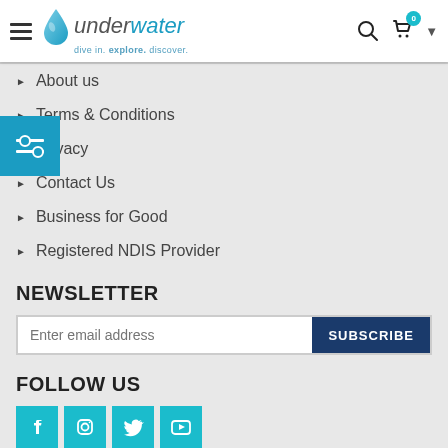underwater – dive in. explore. discover.
About us
Terms & Conditions
Privacy
Contact Us
Business for Good
Registered NDIS Provider
NEWSLETTER
Enter email address
SUBSCRIBE
FOLLOW US
[Figure (other): Social media icons: Facebook, Instagram, Twitter, YouTube]